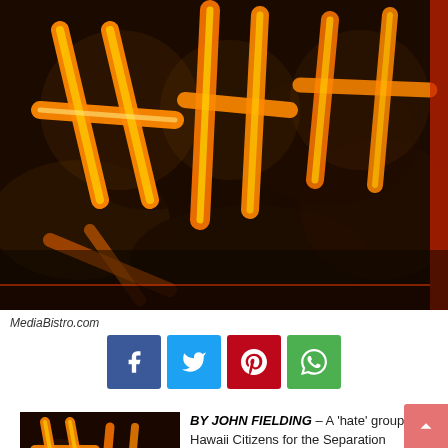[Figure (photo): Dark background image showing fire-orange tally marks or graffiti-like symbols (resembling the word 'hate') painted in flames against a black rocky or smoky surface. The image has a red-tinted right edge.]
MediaBistro.com
[Figure (infographic): Row of four social media sharing buttons: Facebook (blue), Twitter (cyan), Pinterest (red), WhatsApp (green)]
[Figure (photo): Smaller version of the same fire/hate graffiti image in the bottom-left corner]
BY JOHN FIELDING – A 'hate' group, Hawaii Citizens for the Separation